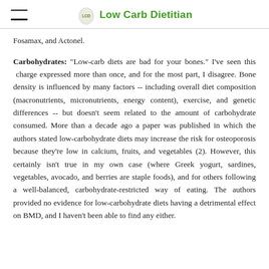Low Carb Dietitian
Fosamax, and Actonel.
Carbohydrates: "Low-carb diets are bad for your bones." I've seen this charge expressed more than once, and for the most part, I disagree. Bone density is influenced by many factors -- including overall diet composition (macronutrients, micronutrients, energy content), exercise, and genetic differences -- but doesn't seem related to the amount of carbohydrate consumed. More than a decade ago a paper was published in which the authors stated low-carbohydrate diets may increase the risk for osteoporosis because they're low in calcium, fruits, and vegetables (2). However, this certainly isn't true in my own case (where Greek yogurt, sardines, vegetables, avocado, and berries are staple foods), and for others following a well-balanced, carbohydrate-restricted way of eating. The authors provided no evidence for low-carbohydrate diets having a detrimental effect on BMD, and I haven't been able to find any either.